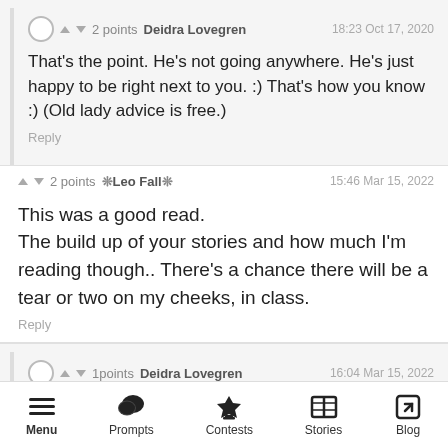▲ ▼ 2 points  Deidra Lovegren  18:23 Oct 17, 2020
That's the point. He's not going anywhere. He's just happy to be right next to you. :) That's how you know :) (Old lady advice is free.)
Reply
▲ ▼ 2 points  ❊Leo Fall❊  15:46 Mar 15, 2022
This was a good read.
The build up of your stories and how much I'm reading though.. There's a chance there will be a tear or two on my cheeks, in class.
Reply
▲ ▼ 1points  Deidra Lovegren  16:04 Mar 15, 2022
Menu  Prompts  Contests  Stories  Blog